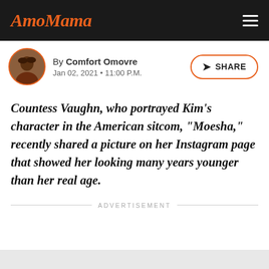AmoMama
By Comfort Omovre
Jan 02, 2021 • 11:00 P.M.
Countess Vaughn, who portrayed Kim's character in the American sitcom, "Moesha," recently shared a picture on her Instagram page that showed her looking many years younger than her real age.
ADVERTISEMENT